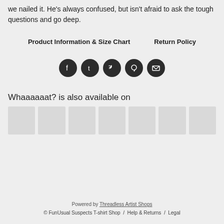we nailed it. He's always confused, but isn't afraid to ask the tough questions and go deep.
Product Information & Size Chart    Return Policy
[Figure (infographic): Five social media icon circles (Facebook, Tumblr, Twitter, Pinterest, Email) in dark grey/black circles]
Whaaaaaat? is also available on
[Figure (infographic): Row of grey placeholder thumbnail boxes representing available platforms]
Powered by Threadless Artist Shops
© FunUsual Suspects T-shirt Shop / Help & Returns / Legal